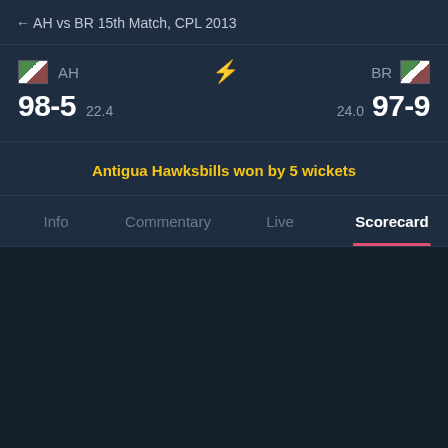← AH vs BR 15th Match, CPL 2013
AH  98-5  22.4  ⚡  24.0  97-9  BR
Antigua Hawksbills won by 5 wickets
Info  Commentary  Live  Scorecard